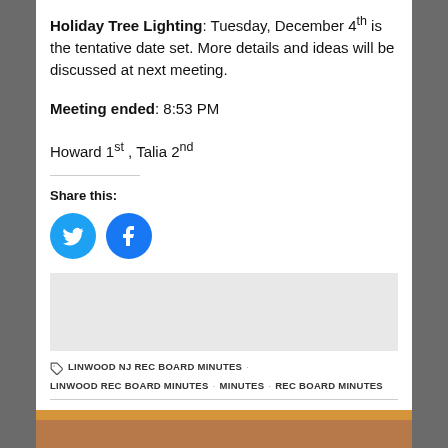Holiday Tree Lighting: Tuesday, December 4th is the tentative date set. More details and ideas will be discussed at next meeting.
Meeting ended: 8:53 PM
Howard 1st , Talia 2nd
Share this:
[Figure (infographic): Twitter and Facebook social share icon buttons (circular blue icons)]
[Figure (other): Gray advertisement/placeholder box]
LINWOOD NJ REC BOARD MINUTES   LINWOOD REC BOARD MINUTES   MINUTES   REC BOARD MINUTES
RELATED POSTS